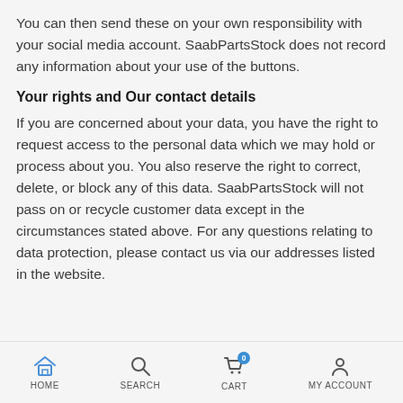You can then send these on your own responsibility with your social media account. SaabPartsStock does not record any information about your use of the buttons.
Your rights and Our contact details
If you are concerned about your data, you have the right to request access to the personal data which we may hold or process about you. You also reserve the right to correct, delete, or block any of this data. SaabPartsStock will not pass on or recycle customer data except in the circumstances stated above. For any questions relating to data protection, please contact us via our addresses listed in the website.
HOME  SEARCH  CART  MY ACCOUNT